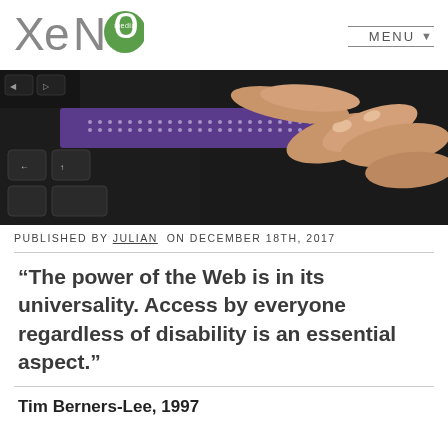[Figure (logo): XeNo media logo in grey and green]
[Figure (photo): Close-up photo of hands using a braille display next to a keyboard]
PUBLISHED BY JULIAN ON DECEMBER 18TH, 2017
“The power of the Web is in its universality. Access by everyone regardless of disability is an essential aspect.”
Tim Berners-Lee, 1997